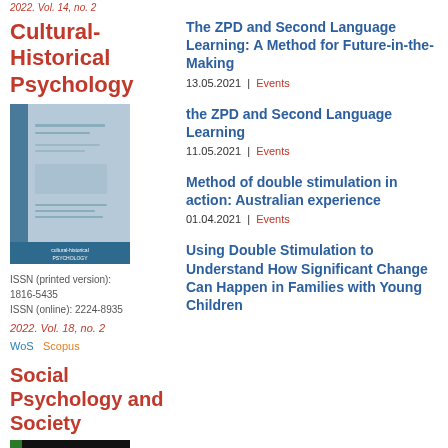2022. Vol. 14, no. 2
Cultural-Historical Psychology
[Figure (photo): Cover of Cultural-Historical Psychology journal, light blue/grey design]
ISSN (printed version): 1816-5435
ISSN (online): 2224-8935
2022. Vol. 18, no. 2
WoS  Scopus
Social Psychology and Society
[Figure (photo): Cover of Social Psychology and Society journal, dark/black with green spine]
The ZPD and Second Language Learning: A Method for Future-in-the-Making
13.05.2021  |  Events
the ZPD and Second Language Learning
11.05.2021  |  Events
Method of double stimulation in action: Australian experience
01.04.2021  |  Events
Using Double Stimulation to Understand How Significant Change Can Happen in Families with Young Children